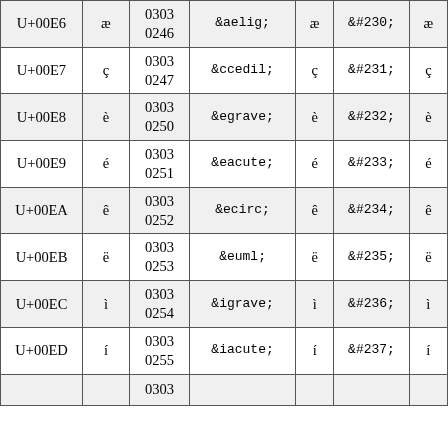| U+00E6 | æ | 0303
0246 | &aelig; | æ | &#230; | æ |
| U+00E7 | ç | 0303
0247 | &ccedil; | ç | &#231; | ç |
| U+00E8 | è | 0303
0250 | &egrave; | è | &#232; | è |
| U+00E9 | é | 0303
0251 | &eacute; | é | &#233; | é |
| U+00EA | ê | 0303
0252 | &ecirc; | ê | &#234; | ê |
| U+00EB | ë | 0303
0253 | &euml; | ë | &#235; | ë |
| U+00EC | ì | 0303
0254 | &igrave; | ì | &#236; | ì |
| U+00ED | í | 0303
0255 | &iacute; | í | &#237; | í |
|  |  | 0303 |  |  |  |  |